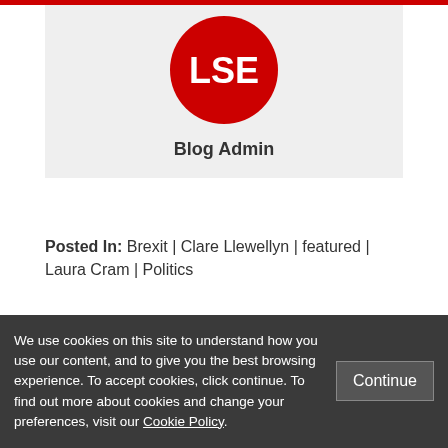[Figure (logo): LSE red circle logo with white letters LSE]
Blog Admin
Posted In: Brexit | Clare Llewellyn | featured | Laura Cram | Politics
1 Comments
We use cookies on this site to understand how you use our content, and to give you the best browsing experience. To accept cookies, click continue. To find out more about cookies and change your preferences, visit our Cookie Policy.